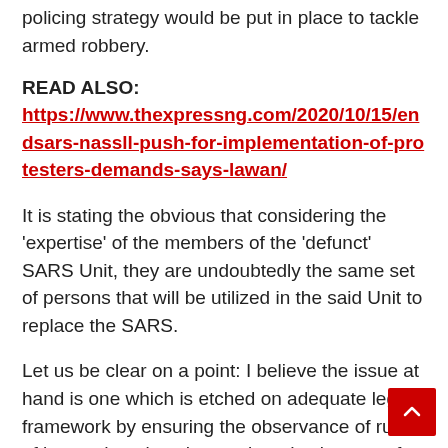policing strategy would be put in place to tackle armed robbery.
READ ALSO:
https://www.thexpressng.com/2020/10/15/endsars-nassll-push-for-implementation-of-protesters-demands-says-lawan/
It is stating the obvious that considering the 'expertise' of the members of the 'defunct' SARS Unit, they are undoubtedly the same set of persons that will be utilized in the said Unit to replace the SARS.
Let us be clear on a point: I believe the issue at hand is one which is etched on adequate legal framework by ensuring the observance of rule of law and not just the continued existence of